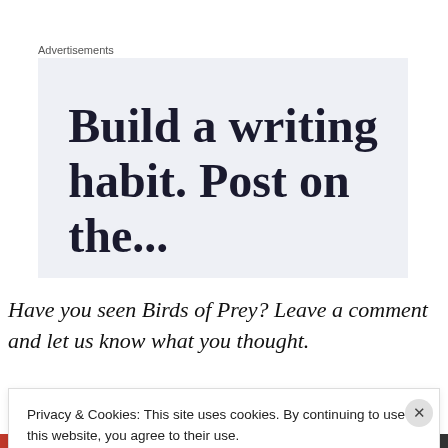Advertisements
[Figure (other): Advertisement banner with text 'Build a writing habit. Post on the...' on a light blue-gray background]
Have you seen Birds of Prey? Leave a comment and let us know what you thought.
Privacy & Cookies: This site uses cookies. By continuing to use this website, you agree to their use. To find out more, including how to control cookies, see here: Cookie Policy